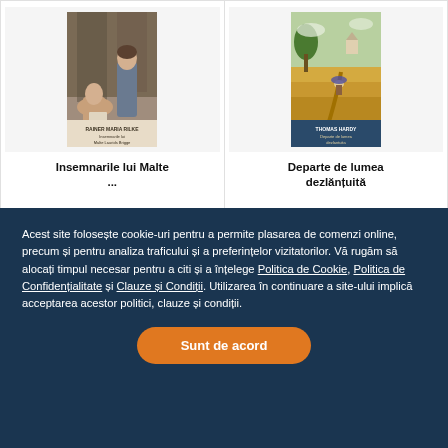[Figure (illustration): Book cover for 'Insemnarile lui Malte Laurids Brigge' by Rainer Maria Rilke, showing a painted scene with two figures]
Insemnarile lui Malte...
[Figure (illustration): Book cover for 'Departe de lumea dezlantuita' by Thomas Hardy, showing a rural landscape with a figure in a field]
Departe de lumea dezlantuita
Acest site folosește cookie-uri pentru a permite plasarea de comenzi online, precum și pentru analiza traficului și a preferințelor vizitatorilor. Vă rugăm să alocați timpul necesar pentru a citi și a înțelege Politica de Cookie, Politica de Confidențialitate și Clauze și Condiții. Utilizarea în continuare a site-ului implică acceptarea acestor politici, clauze și condiții.
Sunt de acord